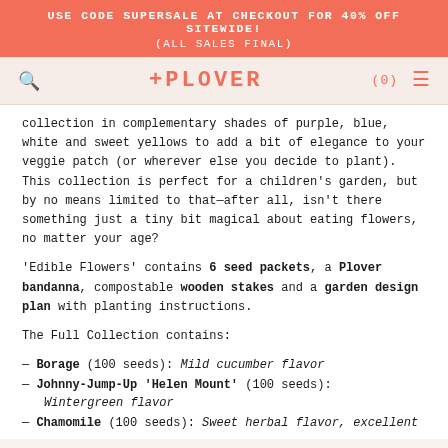USE CODE SUPERSALE AT CHECKOUT FOR 40% OFF SITEWIDE!
(ALL SALES FINAL)
PLOVER (0)
collection in complementary shades of purple, blue, white and sweet yellows to add a bit of elegance to your veggie patch (or wherever else you decide to plant). This collection is perfect for a children's garden, but by no means limited to that—after all, isn't there something just a tiny bit magical about eating flowers, no matter your age?
'Edible Flowers' contains 6 seed packets, a Plover bandanna, compostable wooden stakes and a garden design plan with planting instructions.
The Full Collection contains:
— Borage (100 seeds): Mild cucumber flavor
— Johnny-Jump-Up 'Helen Mount' (100 seeds): Wintergreen flavor
— Chamomile (100 seeds): Sweet herbal flavor, excellent